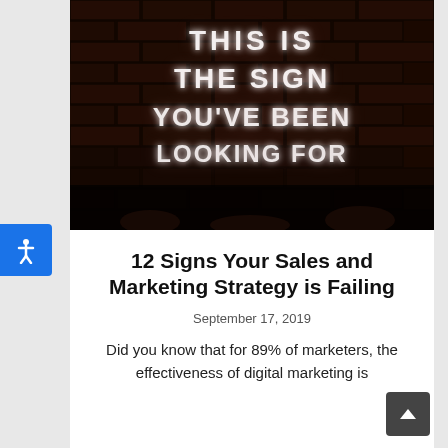[Figure (photo): Dark brick wall with illuminated neon sign text reading 'THIS IS THE SIGN YOU'VE BEEN LOOKING FOR' in white glowing letters against a dark background. Some people/figures visible at the bottom of the image.]
12 Signs Your Sales and Marketing Strategy is Failing
September 17, 2019
Did you know that for 89% of marketers, the effectiveness of digital marketing is